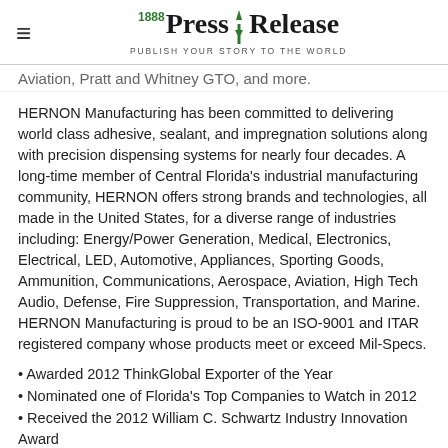1888 Press Release — PUBLISH YOUR STORY TO THE WORLD
Aviation, Pratt and Whitney GTO, and more.
HERNON Manufacturing has been committed to delivering world class adhesive, sealant, and impregnation solutions along with precision dispensing systems for nearly four decades. A long-time member of Central Florida's industrial manufacturing community, HERNON offers strong brands and technologies, all made in the United States, for a diverse range of industries including: Energy/Power Generation, Medical, Electronics, Electrical, LED, Automotive, Appliances, Sporting Goods, Ammunition, Communications, Aerospace, Aviation, High Tech Audio, Defense, Fire Suppression, Transportation, and Marine. HERNON Manufacturing is proud to be an ISO-9001 and ITAR registered company whose products meet or exceed Mil-Specs.
• Awarded 2012 ThinkGlobal Exporter of the Year
• Nominated one of Florida's Top Companies to Watch in 2012
• Received the 2012 William C. Schwartz Industry Innovation Award